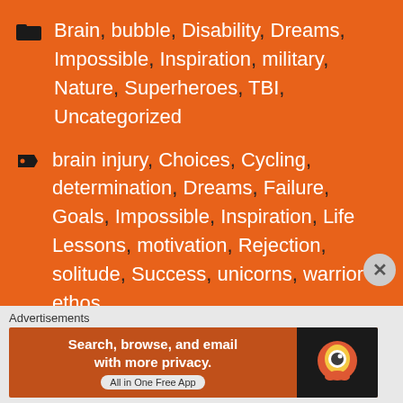Brain, bubble, Disability, Dreams, Impossible, Inspiration, military, Nature, Superheroes, TBI, Uncategorized
brain injury, Choices, Cycling, determination, Dreams, Failure, Goals, Impossible, Inspiration, Life Lessons, motivation, Rejection, solitude, Success, unicorns, warrior ethos
Leave a Reply
Your email address will not be published. Required fields are marked *
Advertisements
[Figure (screenshot): DuckDuckGo advertisement banner: Search, browse, and email with more privacy. All in One Free App]